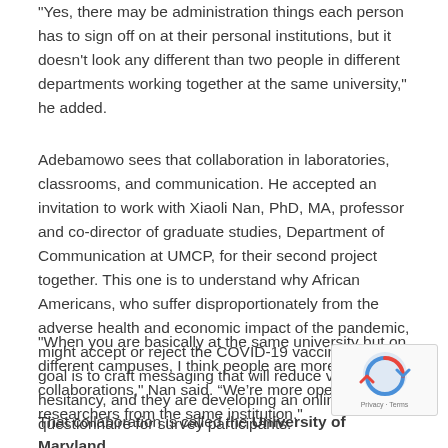"Yes, there may be administration things each person has to sign off on at their personal institutions, but it doesn't look any different than two people in different departments working together at the same university," he added.
Adebamowo sees that collaboration in laboratories, classrooms, and communication. He accepted an invitation to work with Xiaoli Nan, PhD, MA, professor and co-director of graduate studies, Department of Communication at UMCP, for their second project together. This one is to understand why African Americans, who suffer disproportionately from the adverse health and economic impact of the pandemic, might accept or reject the COVID-19 vaccines. The goal is to craft messaging that will reduce vaccine hesitancy, and they are developing an online questionnaire for survey participants.
"When you are basically at the same university but on different campuses, I think people are more open to collaborations," Nan said. “We’re more open to work researchers from the same institution."
That collaboration is called the University of Maryland